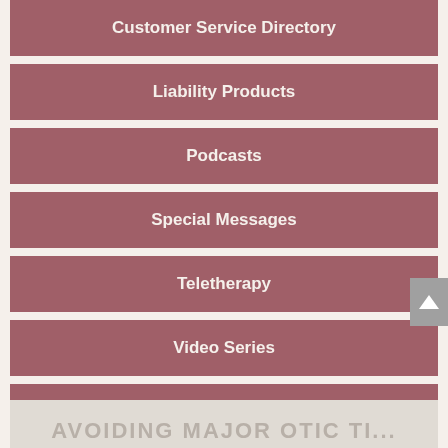Customer Service Directory
Liability Products
Podcasts
Special Messages
Teletherapy
Video Series
Webinars
AVOIDING MAJOR OTIC TI...